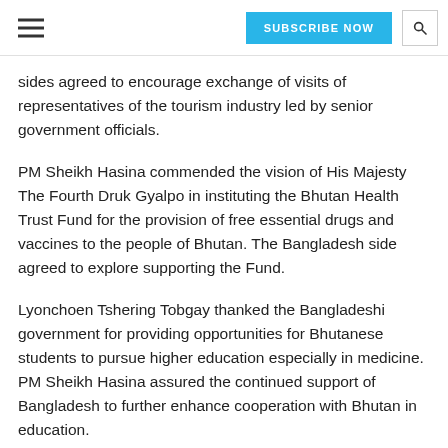SUBSCRIBE NOW
sides agreed to encourage exchange of visits of representatives of the tourism industry led by senior government officials.
PM Sheikh Hasina commended the vision of His Majesty The Fourth Druk Gyalpo in instituting the Bhutan Health Trust Fund for the provision of free essential drugs and vaccines to the people of Bhutan. The Bangladesh side agreed to explore supporting the Fund.
Lyonchoen Tshering Tobgay thanked the Bangladeshi government for providing opportunities for Bhutanese students to pursue higher education especially in medicine. PM Sheikh Hasina assured the continued support of Bangladesh to further enhance cooperation with Bhutan in education.
The two PMs agreed to explore cooperation in ICT.